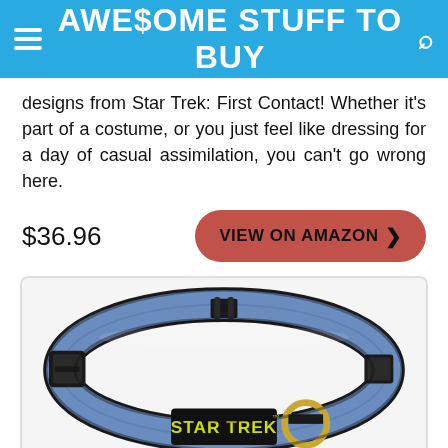AWESOME STUFF TO BUY
designs from Star Trek: First Contact! Whether it's part of a costume, or you just feel like dressing for a day of casual assimilation, you can't go wrong here.
$36.96
VIEW ON AMAZON >
[Figure (photo): A blue Star Trek branded dog collar with black buckle hardware, a gold D-ring, and a Star Trek logo patch on the front. The collar is displayed against a white background.]